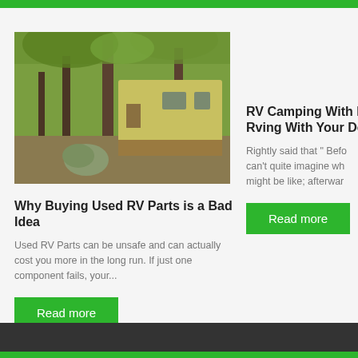[Figure (photo): Abandoned old yellow RV or trailer among trees in an outdoor wooded setting]
Why Buying Used RV Parts is a Bad Idea
Used RV Parts can be unsafe and can actually cost you more in the long run. If just one component fails, your...
Read more
RV Camping With D Rving With Your Do
Rightly said that " Befo can't quite imagine wh might be like; afterwar
Read more